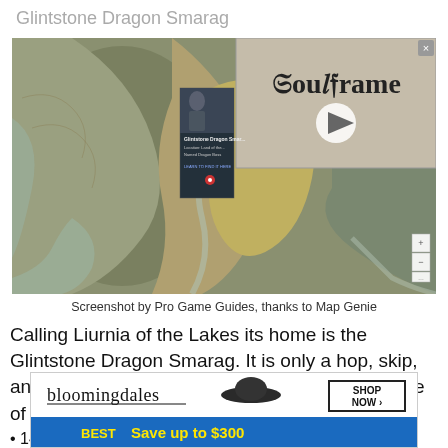Glintstone Dragon Smarag
[Figure (screenshot): Game map screenshot from Elden Ring showing Liurnia of the Lakes area, with a SoulFrame video ad overlay in the top right and a Glintstone Dragon Smarag card overlay in the center]
Screenshot by Pro Game Guides, thanks to Map Genie
Calling Liurnia of the Lakes its home is the Glintstone Dragon Smarag. It is only a hop, skip, and a jump away from the Crystalline Woods Site of Grace
14,
[Figure (screenshot): Bloomingdale's advertisement banner with 'Save up to $300' offer]